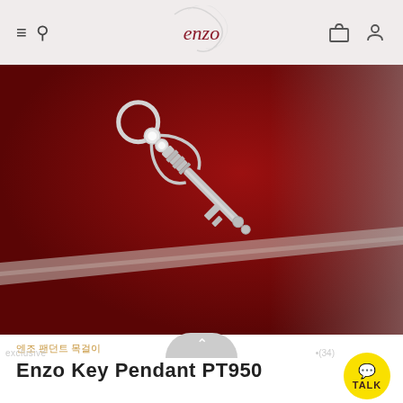enzo
[Figure (photo): Silver key pendant jewelry photographed on a dark red/burgundy background. The key has decorative scroll work at the top with small diamond accents, an ornate barrel/shaft, and a classic key bit at the bottom. A reflective silver diagonal stripe appears in the lower portion of the image.]
엔조 팬던트 목걸이
Enzo Key Pendant PT950